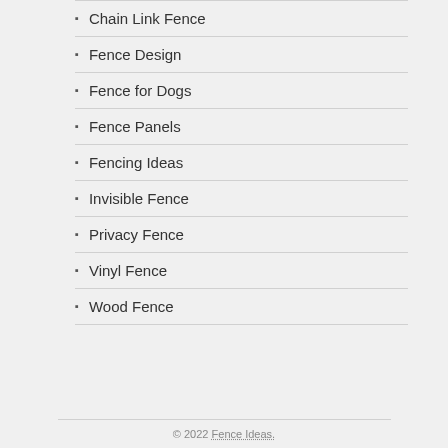Chain Link Fence
Fence Design
Fence for Dogs
Fence Panels
Fencing Ideas
Invisible Fence
Privacy Fence
Vinyl Fence
Wood Fence
© 2022 Fence Ideas.